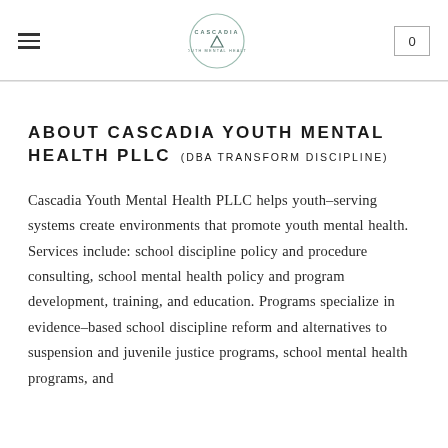Cascadia Youth Mental Health PLLC — navigation header with logo and cart
ABOUT CASCADIA YOUTH MENTAL HEALTH PLLC (DBA TRANSFORM DISCIPLINE)
Cascadia Youth Mental Health PLLC helps youth-serving systems create environments that promote youth mental health. Services include: school discipline policy and procedure consulting, school mental health policy and program development, training, and education. Programs specialize in evidence-based school discipline reform and alternatives to suspension and juvenile justice programs, school mental health programs, and